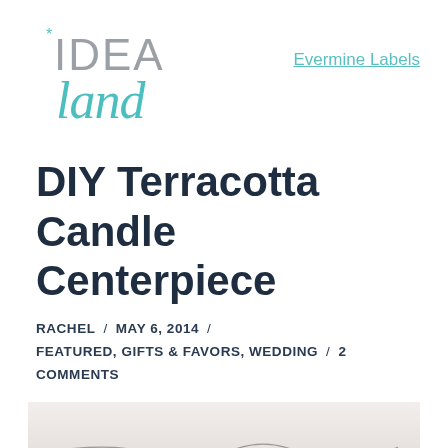[Figure (logo): Idea Land blog logo with teal/turquoise cursive 'land' text and asterisk]
Evermine Labels
DIY Terracotta Candle Centerpiece
RACHEL / MAY 6, 2014 / FEATURED, GIFTS & FAVORS, WEDDING / 2 COMMENTS
[Figure (photo): Photo showing colorful bunting/banner garland against a light background, partially visible]